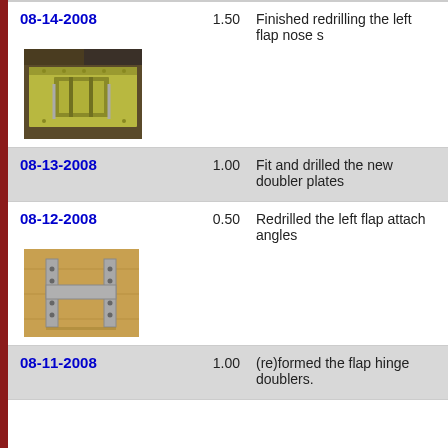08-14-2008  1.50  Finished redrilling the left flap nose s
[Figure (photo): Photo of metal flap nose skin assembly with clamps and rivets on workbench]
08-13-2008  1.00  Fit and drilled the new doubler plates
08-12-2008  0.50  Redrilled the left flap attach angles
[Figure (photo): Photo of left flap attach angles, H-shaped metal bracket on wooden surface]
08-11-2008  1.00  (re)formed the flap hinge doublers.